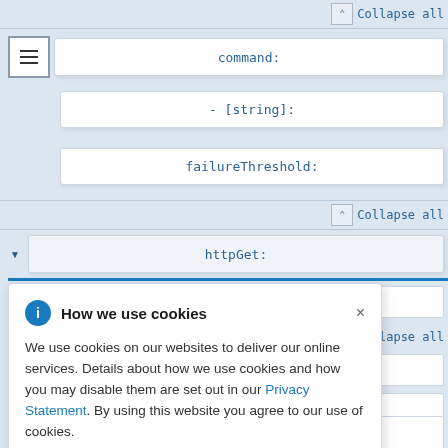Collapse all
command:
- [string]:
failureThreshold:
Collapse all
httpGet:
Collapse all
value:
How we use cookies

We use cookies on our websites to deliver our online services. Details about how we use cookies and how you may disable them are set out in our Privacy Statement. By using this website you agree to our use of cookies.